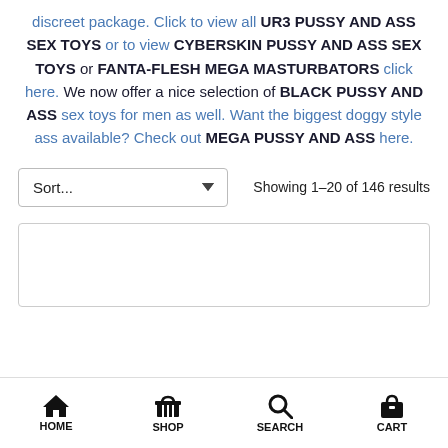discreet package. Click to view all UR3 PUSSY AND ASS SEX TOYS or to view CYBERSKIN PUSSY AND ASS SEX TOYS or FANTA-FLESH MEGA MASTURBATORS click here. We now offer a nice selection of BLACK PUSSY AND ASS sex toys for men as well. Want the biggest doggy style ass available? Check out MEGA PUSSY AND ASS here.
Sort... Showing 1–20 of 146 results
[Figure (other): Empty product card placeholder box]